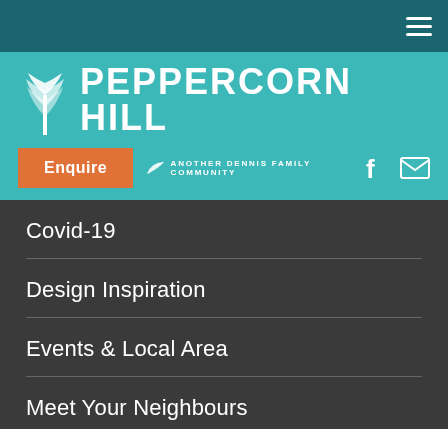Navigation bar with hamburger menu
PEPPERCORN HILL
Enquire | ANOTHER DENNIS FAMILY COMMUNITY
Covid-19
Design Inspiration
Events & Local Area
Meet Your Neighbours